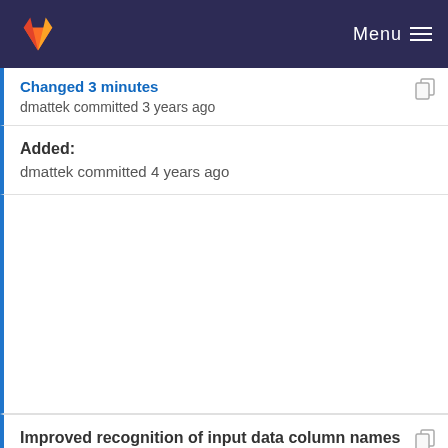Menu
Changed 3 minutes
dmattek committed 3 years ago
Added:
dmattek committed 4 years ago
Improved recognition of input data column names
dmattek committed 4 years ago